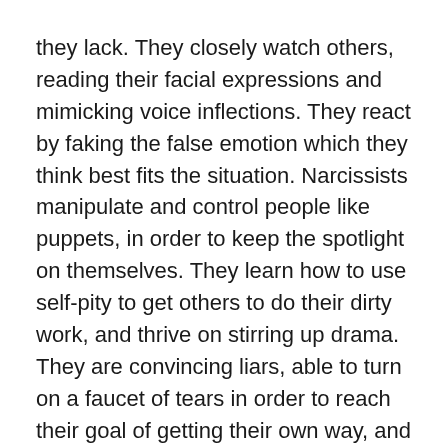they lack. They closely watch others, reading their facial expressions and mimicking voice inflections. They react by faking the false emotion which they think best fits the situation. Narcissists manipulate and control people like puppets, in order to keep the spotlight on themselves. They learn how to use self-pity to get others to do their dirty work, and thrive on stirring up drama. They are convincing liars, able to turn on a faucet of tears in order to reach their goal of getting their own way, and gaining more attention.
A narcissist feeds on “narcissistic supply.” This means they use others in order to get their emotional needs met. They don’t even mind some negative attention, which they would rather have than nothing at all. A narcissist will do whatever is necessary to get “narcissistic supply,” including working overtime, committing adultery, forming